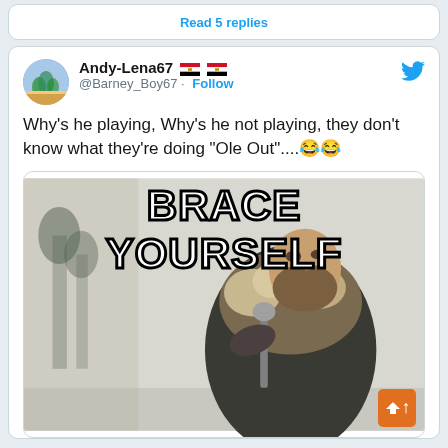Read 5 replies
Andy-Lena67 🇪🇬🇪🇬
@Barney_Boy67 · Follow
Why's he playing, Why's he not playing, they don't know what they're doing "Ole Out"....😂😂
[Figure (other): Brace Yourself meme image with a bearded man in winter furs holding a sword, text reads BRACE YOURSELF]